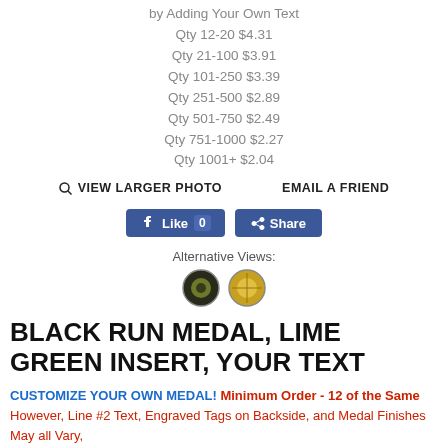by Adding Your Own Text
Qty 12-20 $4.31
Qty 21-100 $3.91
Qty 101-250 $3.39
Qty 251-500 $2.89
Qty 501-750 $2.49
Qty 751-1000 $2.27
Qty 1001+ $2.04
VIEW LARGER PHOTO   EMAIL A FRIEND
[Figure (screenshot): Facebook Like and Share buttons]
Alternative Views:
[Figure (photo): Two small circular medal thumbnail images]
BLACK RUN MEDAL, LIME GREEN INSERT, YOUR TEXT
CUSTOMIZE YOUR OWN MEDAL! Minimum Order - 12 of the Same
However, Line #2 Text, Engraved Tags on Backside, and Medal Finishes May all Vary,
Price: $4.31
as low as $2.04